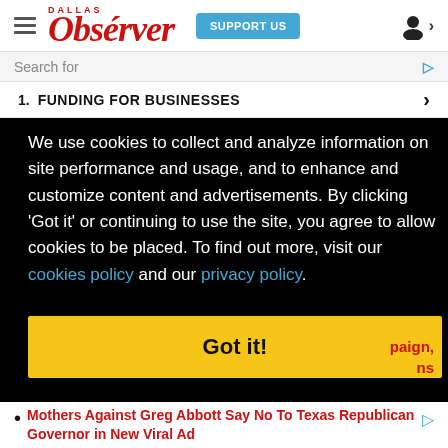Dallas Observer — SUPPORT US — user icon
Search for
1. FUNDING FOR BUSINESSES
We use cookies to collect and analyze information on site performance and usage, and to enhance and customize content and advertisements. By clicking 'Got it' or continuing to use the site, you agree to allow cookies to be placed. To find out more, visit our cookies policy and our privacy policy.
Got it!
paign, ns
Mothers Against Greg Abbott Say No To Texas Republican Governor in New Viral Ad